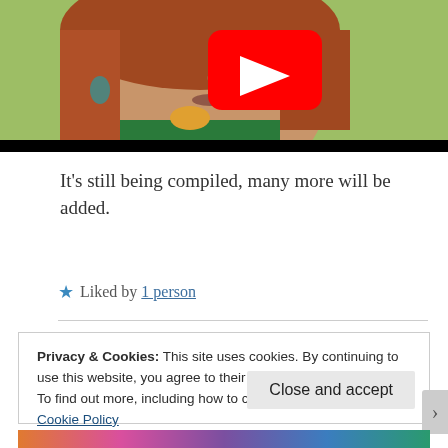[Figure (screenshot): YouTube video thumbnail showing a woman with red hair outdoors with a YouTube play button overlay]
It’s still being compiled, many more will be added.
★ Liked by 1 person
Privacy & Cookies: This site uses cookies. By continuing to use this website, you agree to their use.
To find out more, including how to control cookies, see here: Cookie Policy
Close and accept